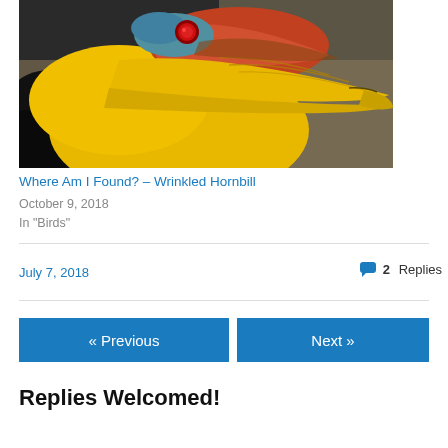[Figure (photo): Close-up photograph of a Wrinkled Hornbill showing its colorful yellow beak, red eye, and orange/red casque against a blurred background]
Where Am I Found? – Wrinkled Hornbill
October 9, 2018
In "Birds"
July 7, 2018
2 Replies
« Previous
Next »
Replies Welcomed!